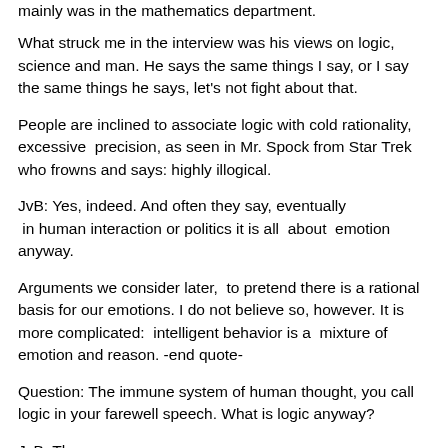mainly was in the mathematics department.
What struck me in the interview was his views on logic, science and man. He says the same things I say, or I say the same things he says, let's not fight about that.
People are inclined to associate logic with cold rationality, excessive  precision, as seen in Mr. Spock from Star Trek who frowns and says: highly illogical.
JvB: Yes, indeed. And often they say, eventually
 in human interaction or politics it is all  about  emotion anyway.
Arguments we consider later,  to pretend there is a rational basis for our emotions. I do not believe so, however. It is more complicated:  intelligent behavior is a  mixture of emotion and reason. -end quote-
Question: The immune system of human thought, you call logic in your farewell speech. What is logic anyway?
JvB: The...